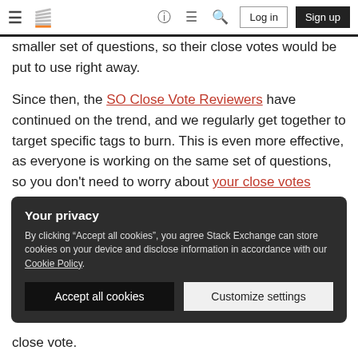Stack Exchange navigation bar with hamburger menu, logo, help icon, chat icon, search icon, Log in button, Sign up button
smaller set of questions, so their close votes would be put to use right away.
Since then, the SO Close Vote Reviewers have continued on the trend, and we regularly get together to target specific tags to burn. This is even more effective, as everyone is working on the same set of questions, so you don't need to worry about your close votes expiring. There is a chat room where tags are coordinated and events are set up which I encourage you to join.
Your privacy
By clicking “Accept all cookies”, you agree Stack Exchange can store cookies on your device and disclose information in accordance with our Cookie Policy.
close vote.